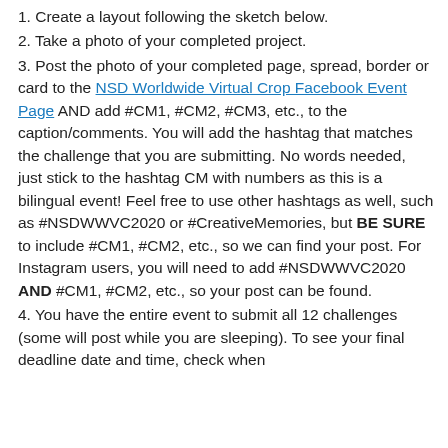1. Create a layout following the sketch below.
2. Take a photo of your completed project.
3. Post the photo of your completed page, spread, border or card to the NSD Worldwide Virtual Crop Facebook Event Page AND add #CM1, #CM2, #CM3, etc., to the caption/comments. You will add the hashtag that matches the challenge that you are submitting. No words needed, just stick to the hashtag CM with numbers as this is a bilingual event! Feel free to use other hashtags as well, such as #NSDWWVC2020 or #CreativeMemories, but BE SURE to include #CM1, #CM2, etc., so we can find your post. For Instagram users, you will need to add #NSDWWVC2020 AND #CM1, #CM2, etc., so your post can be found.
4. You have the entire event to submit all 12 challenges (some will post while you are sleeping). To see your final deadline date and time, check when